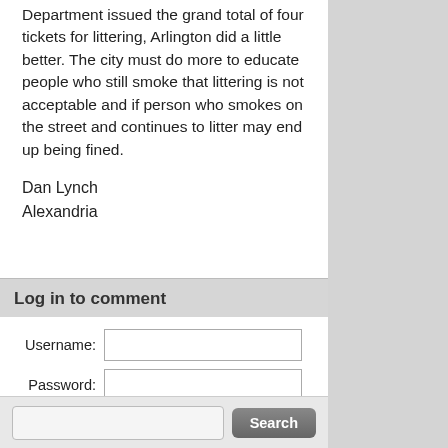Department issued the grand total of four tickets for littering, Arlington did a little better. The city must do more to educate people who still smoke that littering is not acceptable and if person who smokes on the street and continues to litter may end up being fined.
Dan Lynch
Alexandria
Log in to comment
Username:
Password:
Log in
Forgotten your password?